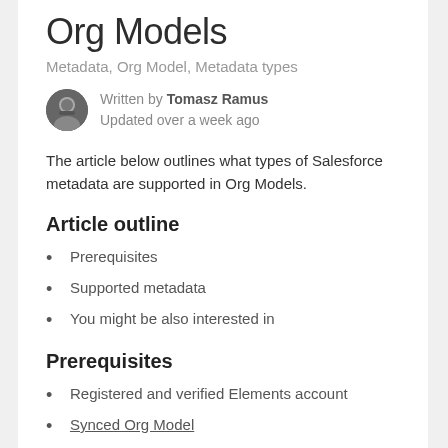Org Models
Metadata, Org Model, Metadata types
Written by Tomasz Ramus
Updated over a week ago
The article below outlines what types of Salesforce metadata are supported in Org Models.
Article outline
Prerequisites
Supported metadata
You might be also interested in
Prerequisites
Registered and verified Elements account
Synced Org Model